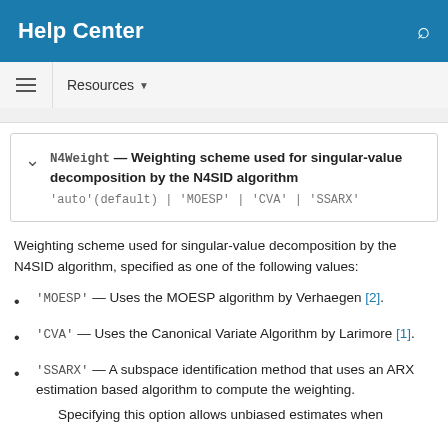Help Center
Resources
N4Weight — Weighting scheme used for singular-value decomposition by the N4SID algorithm
'auto'(default)|'MOESP'|'CVA'|'SSARX'
Weighting scheme used for singular-value decomposition by the N4SID algorithm, specified as one of the following values:
'MOESP' — Uses the MOESP algorithm by Verhaegen [2].
'CVA' — Uses the Canonical Variate Algorithm by Larimore [1].
'SSARX' — A subspace identification method that uses an ARX estimation based algorithm to compute the weighting.
Specifying this option allows unbiased estimates when ...